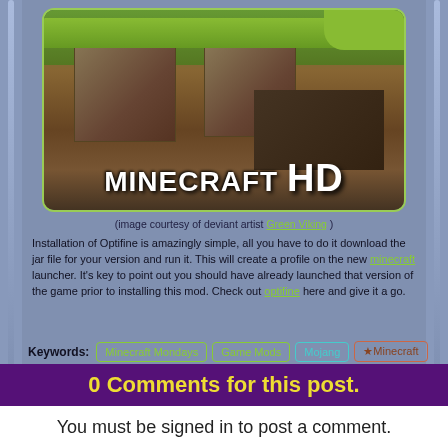[Figure (photo): Photo of real-life grass/soil blocks cut to look like Minecraft dirt blocks, with 'MINECRAFT HD' text overlay at the bottom]
(image courtesy of deviant artist [Green Viking])
Installation of Optifine is amazingly simple, all you have to do it download the jar file for your version and run it. This will create a profile on the new [minecraft] launcher. It's key to point out you should have already launched that version of the game prior to installing this mod. Check out [optifine] here and give it a go.
Keywords: Minecraft Mondays  Game Mods  Mojang  ★Minecraft
0 Comments for this post.
You must be signed in to post a comment.